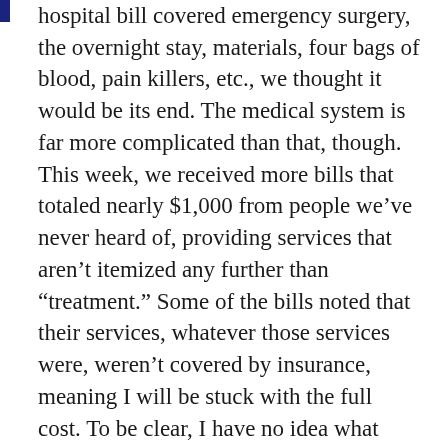hospital bill covered emergency surgery, the overnight stay, materials, four bags of blood, pain killers, etc., we thought it would be its end. The medical system is far more complicated than that, though. This week, we received more bills that totaled nearly $1,000 from people we've never heard of, providing services that aren't itemized any further than "treatment." Some of the bills noted that their services, whatever those services were, weren't covered by insurance, meaning I will be stuck with the full cost. To be clear, I have no idea what they are for. It really shouldn't be that complicated. Why in the world wouldn't the service providers bill the hospital for services, and the hospital bill my insurance the same way any other sub-contractor relationship works? And why are they making their bills so vague? Is it beginning to feel like I'm getting scammed for